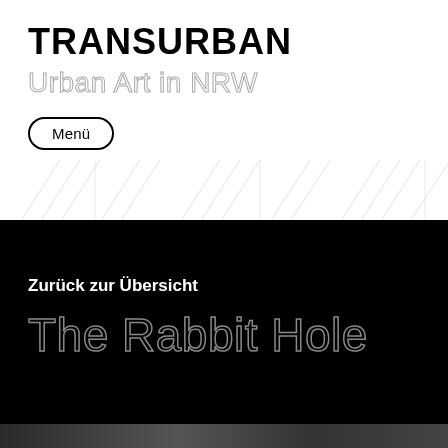TRANSURBAN
Urban Art in NRW
Menü
Zurück zur Übersicht
The Rabbit Hole
[Figure (photo): Dark image strip at the bottom of the page, partially visible]